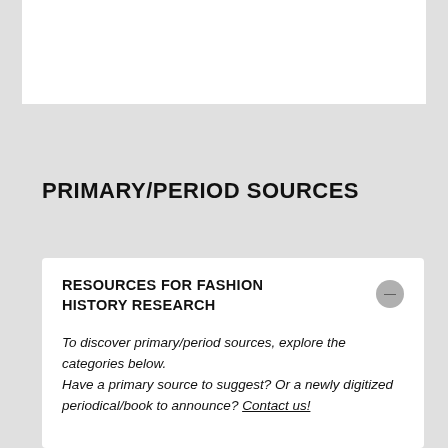[Figure (other): White rectangular box at top of page against gray background]
PRIMARY/PERIOD SOURCES
RESOURCES FOR FASHION HISTORY RESEARCH
To discover primary/period sources, explore the categories below. Have a primary source to suggest?  Or a newly digitized periodical/book to announce?  Contact us!